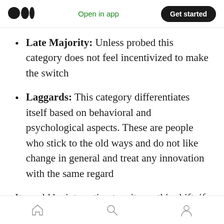Medium app header — Open in app | Get started
Late Majority: Unless probed this category does not feel incentivized to make the switch
Laggards: This category differentiates itself based on behavioral and psychological aspects. These are people who stick to the old ways and do not like change in general and treat any innovation with the same regard
It would be interesting to witness this shift, if at all.
Bottom navigation bar: Home, Search, Profile